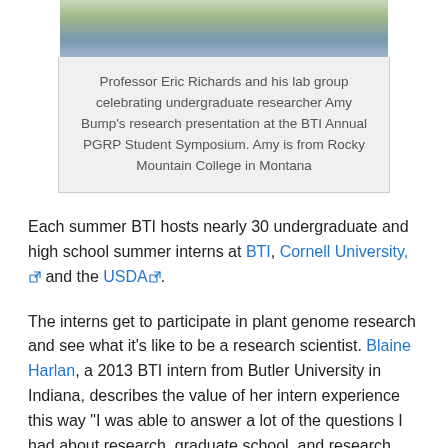[Figure (photo): Group photo of Professor Eric Richards and his lab group, partially visible at top of page]
Professor Eric Richards and his lab group celebrating undergraduate researcher Amy Bump’s research presentation at the BTI Annual PGRP Student Symposium. Amy is from Rocky Mountain College in Montana
Each summer BTI hosts nearly 30 undergraduate and high school summer interns at BTI, Cornell University, and the USDA.
The interns get to participate in plant genome research and see what it’s like to be a research scientist. Blaine Harlan, a 2013 BTI intern from Butler University in Indiana, describes the value of her intern experience this way “I was able to answer a lot of the questions I had about research, graduate school, and research careers. I knew that I wanted to do research, but